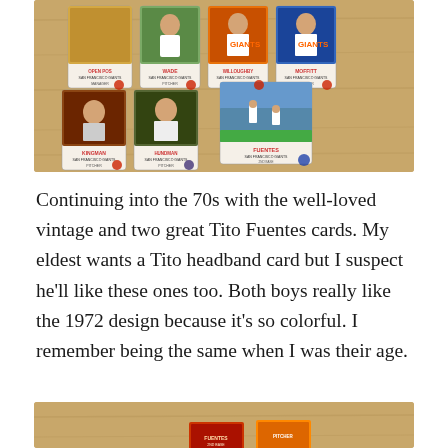[Figure (photo): Photograph of multiple vintage 1970s Topps baseball cards spread out on a wooden surface. Cards visible include players from San Francisco Giants: Fuentes, Willoughby, Moffitt, Kingman, and others.]
Continuing into the 70s with the well-loved vintage and two great Tito Fuentes cards. My eldest wants a Tito headband card but I suspect he'll like these ones too. Both boys really like the 1972 design because it's so colorful. I remember being the same when I was their age.
[Figure (photo): Partial photograph at bottom of page showing more vintage baseball cards on a wooden surface, partially cropped.]